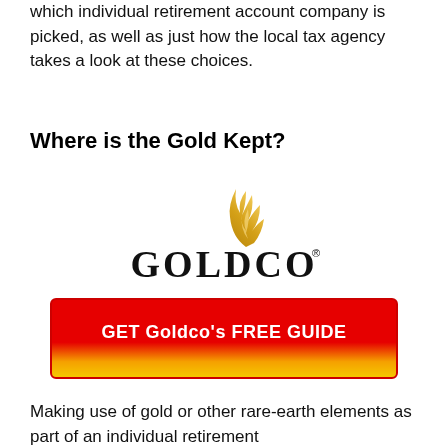which individual retirement account company is picked, as well as just how the local tax agency takes a look at these choices.
Where is the Gold Kept?
[Figure (logo): Goldco logo with golden flame above stylized text reading GOLDCO with registered trademark symbol]
[Figure (other): Red and gold gradient call-to-action button reading: GET Goldco's FREE GUIDE]
Making use of gold or other rare-earth elements as part of an individual retirement